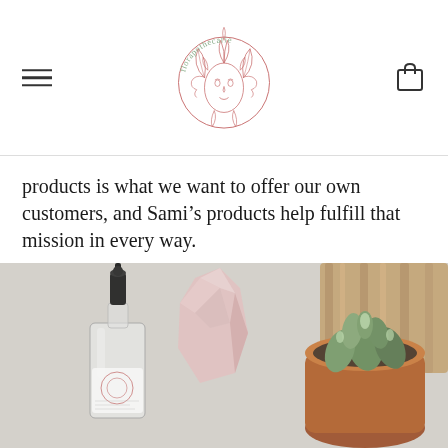florapothecarie logo with hamburger menu and bag icon
products is what we want to offer our own customers, and Sami’s products help fulfill that mission in every way.
[Figure (photo): Flat lay photo showing a glass spray bottle with a black pump top and a florapothecarie label, a rough rose quartz crystal, and a small succulent plant in a terracotta bowl on a wooden board, all on a light grey surface.]